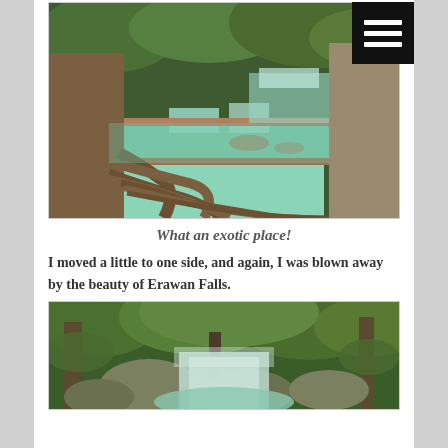[Figure (photo): Photo of Erawan Falls showing large tree roots in the foreground and turquoise stepped waterfalls and pools in the background, surrounded by lush green forest.]
What an exotic place!
I moved a little to one side, and again, I was blown away by the beauty of Erawan Falls.
[Figure (photo): Photo of Erawan Falls showing multi-tiered waterfall cascading over mossy rocks surrounded by dense green tropical forest.]